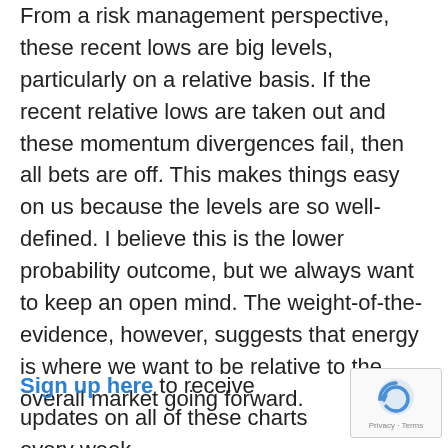From a risk management perspective, these recent lows are big levels, particularly on a relative basis. If the recent relative lows are taken out and these momentum divergences fail, then all bets are off. This makes things easy on us because the levels are so well-defined. I believe this is the lower probability outcome, but we always want to keep an open mind. The weight-of-the-evidence, however, suggests that energy is where we want to be relative to the overall market going forward.
Sign up here to receive updates on all of these charts every week.